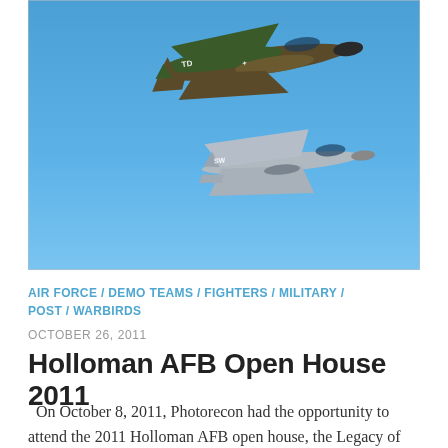[Figure (photo): Two military jet fighters in flight against a bright blue sky. The upper aircraft is a camouflage-painted F-4 Phantom with markings 'TD' and the lower is a gray F-16 Fighting Falcon with 'SW' tail marking.]
AIR FORCE / DEMO TEAMS / FIGHTERS / MILITARY / POST / WARBIRDS
OCTOBER 26, 2011
Holloman AFB Open House 2011
On October 8, 2011, Photorecon had the opportunity to attend the 2011 Holloman AFB open house, the Legacy of Liberty air show. Any air show